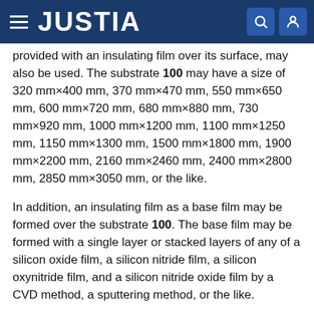JUSTIA
provided with an insulating film over its surface, may also be used. The substrate 100 may have a size of 320 mm×400 mm, 370 mm×470 mm, 550 mm×650 mm, 600 mm×720 mm, 680 mm×880 mm, 730 mm×920 mm, 1000 mm×1200 mm, 1100 mm×1250 mm, 1150 mm×1300 mm, 1500 mm×1800 mm, 1900 mm×2200 mm, 2160 mm×2460 mm, 2400 mm×2800 mm, 2850 mm×3050 mm, or the like.
In addition, an insulating film as a base film may be formed over the substrate 100. The base film may be formed with a single layer or stacked layers of any of a silicon oxide film, a silicon nitride film, a silicon oxynitride film, and a silicon nitride oxide film by a CVD method, a sputtering method, or the like.
The gate electrode layer 101 is formed using a metal material such as titanium, molybdenum, chromium,